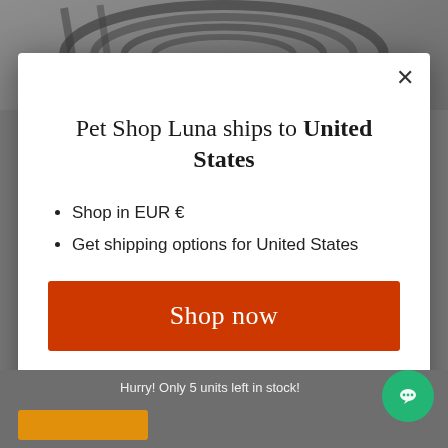[Figure (screenshot): Background of e-commerce product page showing dark cable/wire on grey background, partially obscured by modal overlay]
Pet Shop Luna ships to United States
Shop in EUR €
Get shipping options for United States
Shop now
Change shipping country
Hurry! Only 5 units left in stock!